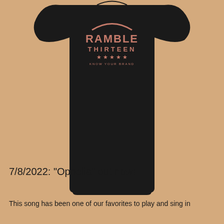[Figure (photo): Black t-shirt laid flat on a tan/beige background. The shirt has a graphic on the chest that reads 'RAMBLE THIRTEEN' in pink/rose colored text with an arch above and stars below, and small text underneath reading something like 'know your brand'.]
7/8/2022: "Ophelia" out now!
This song has been one of our favorites to play and sing in